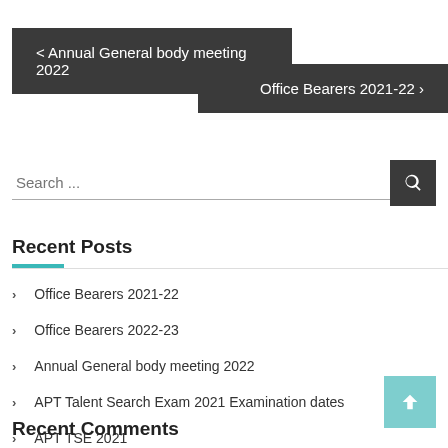< Annual General body meeting 2022
Office Bearers 2021-22 >
Search ...
Recent Posts
Office Bearers 2021-22
Office Bearers 2022-23
Annual General body meeting 2022
APT Talent Search Exam 2021 Examination dates
APT TSE 2021
Recent Comments